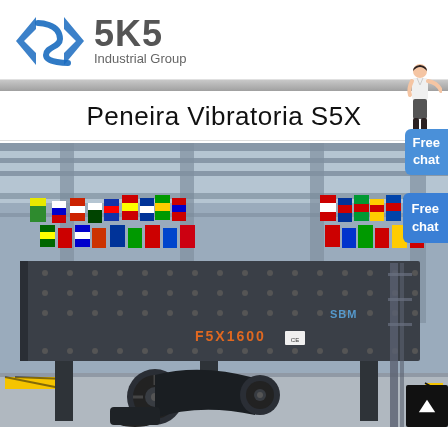[Figure (logo): SKS Industrial Group logo with blue diamond/arrow icon and bold SKS text with 'Industrial Group' subtitle]
Peneira Vibratoria S5X
[Figure (photo): Large industrial vibrating screen machine (F5X1600) displayed in a large warehouse/exhibition hall decorated with international flags. The machine is dark gray, mounted on a frame with belt drive system visible underneath. SBM branding visible on the machine.]